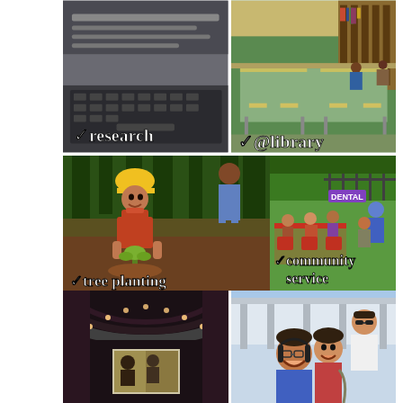[Figure (photo): Top-left: photo of a laptop/computer screen showing research content, with checkmark label 'research']
[Figure (photo): Top-right: photo of a library with tables, chairs and students, with checkmark label '@library']
[Figure (photo): Middle-left: large photo of a young woman in yellow hard hat and orange vest crouching to plant a small tree in a forest, with checkmark label 'tree planting']
[Figure (photo): Middle-right-top: photo of an outdoor community event with a DENTAL sign, people sitting around red tables, with checkmark label 'community service']
[Figure (photo): Bottom-left: photo of a dark auditorium/theater with a screen showing a projected image]
[Figure (photo): Bottom-right: selfie photo of three smiling people outdoors in a campus setting]